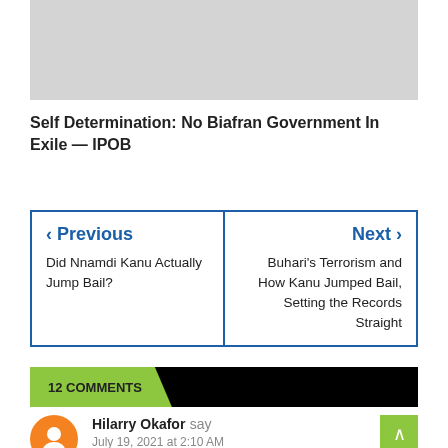[Figure (other): Gray placeholder image box]
Self Determination: No Biafran Government In Exile — IPOB
| Previous | Next |
| --- | --- |
| Did Nnamdi Kanu Actually Jump Bail? | Buhari's Terrorism and How Kanu Jumped Bail, Setting the Records Straight |
12 COMMENTS
Hilarry Okafor say
July 19, 2021 at 2:10 AM